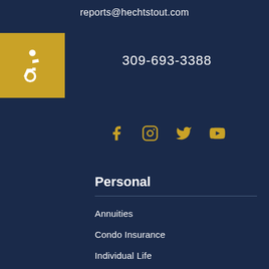reports@hechtstout.com
[Figure (logo): Accessibility icon (wheelchair symbol) in white on gold/yellow square background]
309-693-3388
[Figure (infographic): Social media icons: Facebook, Instagram, Twitter, YouTube — all in gold color]
Personal
Annuities
Condo Insurance
Individual Life
RV Insurance